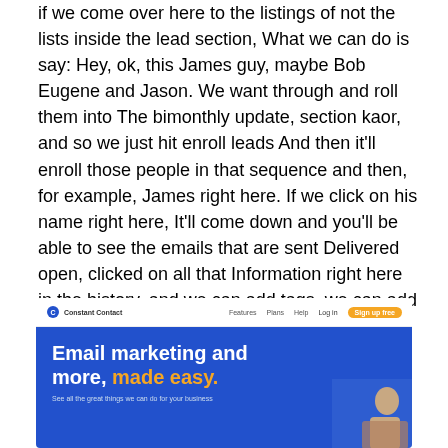if we come over here to the listings of not the lists inside the lead section, What we can do is say: Hey, ok, this James guy, maybe Bob Eugene and Jason. We want through and roll them into The bimonthly update, section kaor, and so we just hit enroll leads And then it'll enroll those people in that sequence and then, for example, James right here. If we click on his name right here, It'll come down and you'll be able to see the emails that are sent Delivered open, clicked on all that Information right here in the history, and we can add tags, we can add notes and follow up with this person.
[Figure (screenshot): Screenshot of the Constant Contact website homepage showing the navigation bar with logo, Features, Plans, Help links, Login and Sign up free button, and a blue hero section with bold white text 'Email marketing and more,' followed by orange text 'made easy.' and a subtitle 'See all the great things we can do for your business' with a partial image of a person on the right side.]